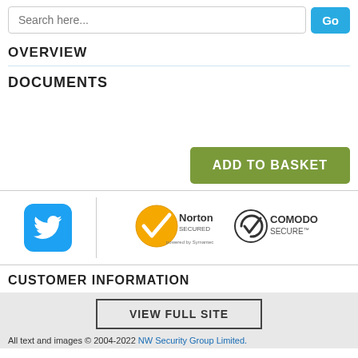[Figure (screenshot): Search bar with placeholder text 'Search here...' and a blue 'Go' button]
OVERVIEW
DOCUMENTS
[Figure (other): Green 'ADD TO BASKET' button]
[Figure (logo): Twitter bird logo icon in blue rounded square, Norton Secured powered by Symantec badge, and Comodo Secure badge]
CUSTOMER INFORMATION
VIEW FULL SITE
All text and images © 2004-2022 NW Security Group Limited.